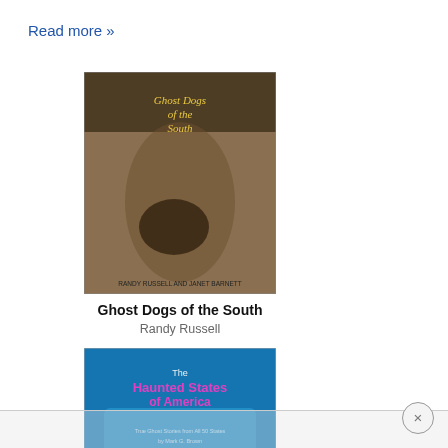Read more »
[Figure (photo): Book cover of 'Ghost Dogs of the South' showing a black and white photo of a young child sitting on steps holding a dark dog, with stylized yellow title text. Authors: Randy Russell and Janet Barnett.]
Ghost Dogs of the South
Randy Russell
[Figure (photo): Book cover of 'The Haunted States of America' showing colorful illustrated characters on a blue background with a map of the United States.]